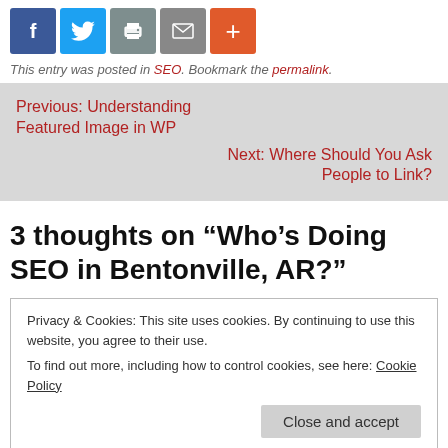[Figure (infographic): Row of social sharing buttons: Facebook (blue), Twitter (light blue), Print (gray), Email (gray), Plus/More (orange-red)]
This entry was posted in SEO. Bookmark the permalink.
Previous: Understanding Featured Image in WP
Next: Where Should You Ask People to Link?
3 thoughts on “Who’s Doing SEO in Bentonville, AR?”
Privacy & Cookies: This site uses cookies. By continuing to use this website, you agree to their use.
To find out more, including how to control cookies, see here: Cookie Policy
Reply